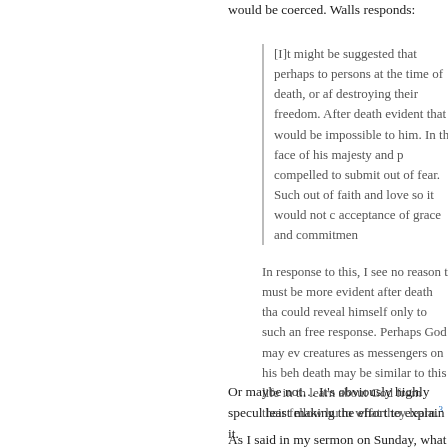would be coerced. Walls responds:
[I]t might be suggested that perhaps to persons at the time of death, or after, destroying their freedom. After death, it is evident that it would be impossible to him. In the face of his majesty and p compelled to submit out of fear. Such out of faith and love so it would not c acceptance of grace and commitmen
In response to this, I see no reason t must be more evident after death tha could reveal himself only to such an free response. Perhaps God may ev creatures as messengers on his beh death may be similar to this life in th learn about God from their fellow hu to what they learn.³
Or maybe not… It's obviously highly specul least making the effort to explain it.
As I said in my sermon on Sunday, what we this time now, this moment now, to respon the opportunity to find salvation. This shou Moreover, along with Walls, I believe our ch eternal consequences. I believe people can